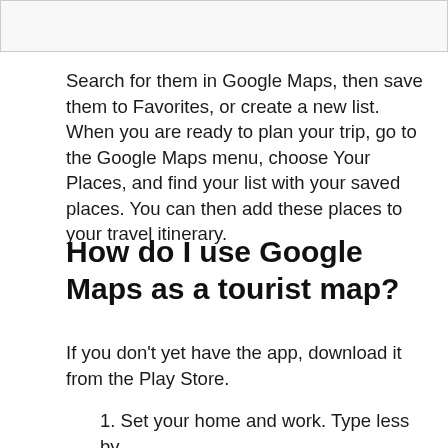Search for them in Google Maps, then save them to Favorites, or create a new list. When you are ready to plan your trip, go to the Google Maps menu, choose Your Places, and find your list with your saved places. You can then add these places to your travel itinerary.
How do I use Google Maps as a tourist map?
If you don't yet have the app, download it from the Play Store.
1. Set your home and work. Type less by